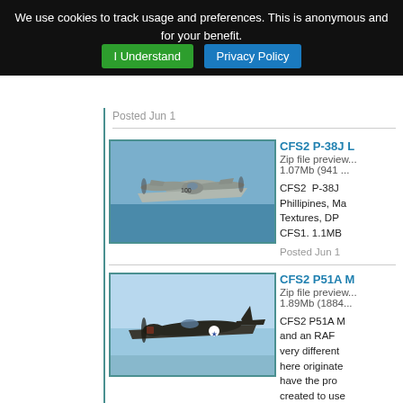We use cookies to track usage and preferences. This is anonymous and for your benefit.   I Understand   Privacy Policy
Posted Jun 1
[Figure (photo): CFS2 P-38J Lightning airplane flying over water, twin-boom fighter aircraft viewed from below-front angle]
CFS2 P-38J L
Zip file preview... 1.07Mb (941 ...
CFS2  P-38J  Phillipines, Ma Textures, DP CFS1. 1.1MB
Posted Jun 1
[Figure (photo): CFS2 P51A Mustang airplane in flight, dark colored fighter with US star insignia against blue sky]
CFS2 P51A M
Zip file preview... 1.89Mb (1884...
CFS2 P51A M and an RAF very different here originate have the pro created to use The air file everything els